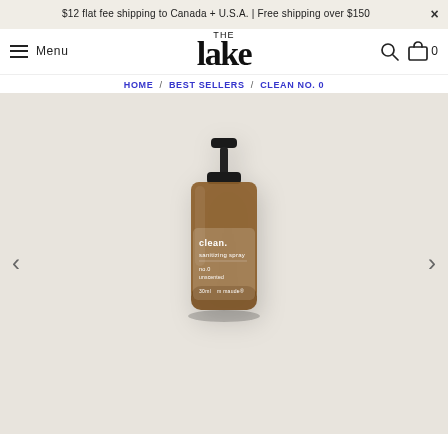$12 flat fee shipping to Canada + U.S.A. | Free shipping over $150
THE lake
Menu
HOME / BEST SELLERS / CLEAN NO. 0
[Figure (photo): Product photo of an amber glass spray bottle labeled 'clean. sanitizing spray' by maude, with a black pump top, shown on a beige background.]